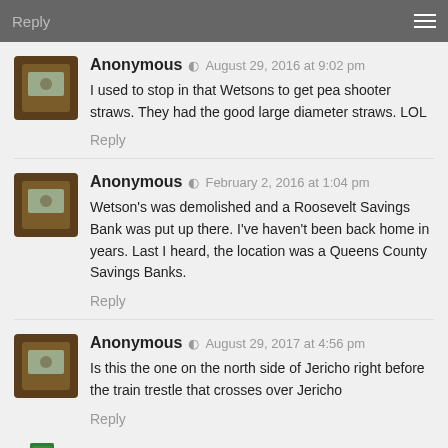Reply
Anonymous · August 29, 2016 at 9:02 pm
I used to stop in that Wetsons to get pea shooter straws. They had the good large diameter straws. LOL
Reply
Anonymous · February 2, 2016 at 1:04 pm
Wetson's was demolished and a Roosevelt Savings Bank was put up there. I've haven't been back home in years. Last I heard, the location was a Queens County Savings Banks.
Reply
Anonymous · August 29, 2017 at 4:56 pm
Is this the one on the north side of Jericho right before the train trestle that crosses over Jericho
Reply